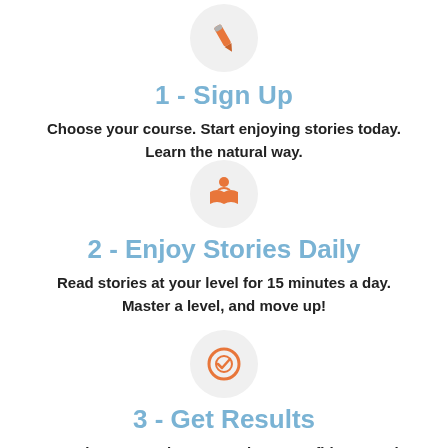[Figure (illustration): Orange pencil icon inside a light grey circle]
1 - Sign Up
Choose your course. Start enjoying stories today. Learn the natural way.
[Figure (illustration): Orange person reading a book icon inside a light grey circle]
2 - Enjoy Stories Daily
Read stories at your level for 15 minutes a day. Master a level, and move up!
[Figure (illustration): Orange target/goal icon inside a light grey circle]
3 - Get Results
Reach your word count goal. Get confidence and